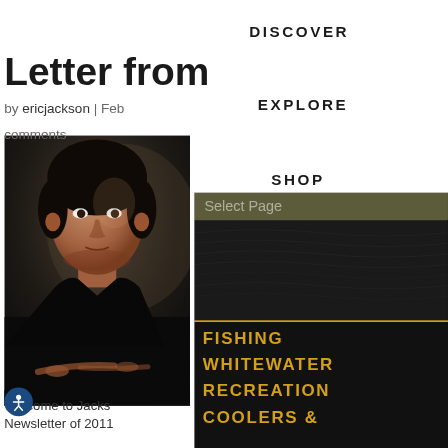DISCOVER
Letter from
by ericjackson | Feb
comments
[Figure (photo): Portrait photo of a man with dark hair wearing a black t-shirt, arms crossed, looking at camera]
Welcome to Jacks
Newsletter of 2011
EXPLORE
SHOP
Select Page
FISHING
WHITEWATER
RECREATION
COOLERS &